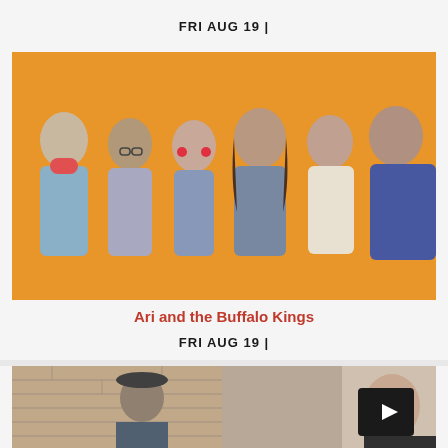FRI AUG 19 |
[Figure (photo): Group photo of six band members (Ari and the Buffalo Kings) standing against an orange background]
Ari and the Buffalo Kings
FRI AUG 19 |
[Figure (photo): Partial photo showing two people in front of a brick wall background]